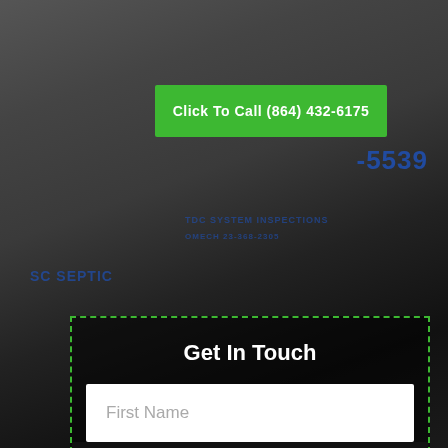[Figure (photo): SC Septic truck vehicle in background, dark overlay, white truck with blue text visible including SC SEPTIC, 5539, TDC SYSTEM INSPECTIONS]
Click To Call (864) 432-6175
Get In Touch
First Name
Last Name
Phone
Email